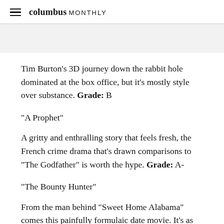columbus MONTHLY
Tim Burton's 3D journey down the rabbit hole dominated at the box office, but it's mostly style over substance. Grade: B
"A Prophet"
A gritty and enthralling story that feels fresh, the French crime drama that's drawn comparisons to "The Godfather" is worth the hype. Grade: A-
"The Bounty Hunter"
From the man behind "Sweet Home Alabama" comes this painfully formulaic date movie. It's as